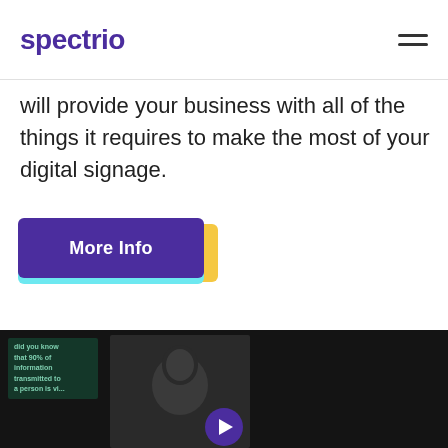spectrio
will provide your business with all of the things it requires to make the most of your digital signage.
[Figure (other): A purple 'More Info' button with yellow and cyan shadow layers behind it]
[Figure (screenshot): A dark video thumbnail showing a person silhouette and a purple play button at the bottom center, with teal-colored text overlay on the left side]